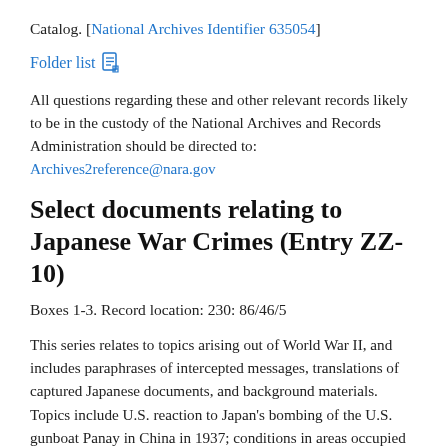Catalog. [National Archives Identifier 635054]
Folder list 📄
All questions regarding these and other relevant records likely to be in the custody of the National Archives and Records Administration should be directed to: Archives2reference@nara.gov
Select documents relating to Japanese War Crimes (Entry ZZ-10)
Boxes 1-3. Record location: 230: 86/46/5
This series relates to topics arising out of World War II, and includes paraphrases of intercepted messages, translations of captured Japanese documents, and background materials. Topics include U.S. reaction to Japan's bombing of the U.S. gunboat Panay in China in 1937; conditions in areas occupied by Japan; requests from the Allies to Japan to both account for civilian internees and prisoners-of-war (POWs), and to treat them humanely; the sinking of the Japanese ship Awa